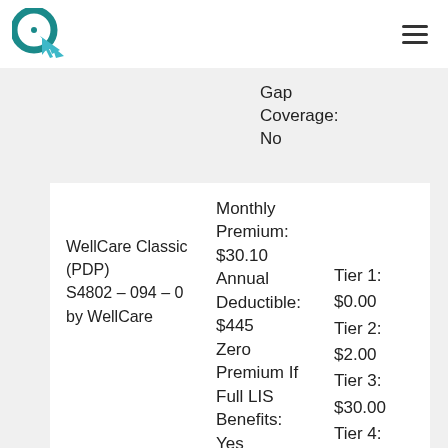Logo and navigation menu
Gap Coverage: No
WellCare Classic (PDP)
S4802 – 094 – 0
by WellCare
Monthly Premium: $30.10
Annual Deductible: $445
Zero Premium If Full LIS Benefits: Yes
ICL: $4,130
Additional
Tier 1: $0.00
Tier 2: $2.00
Tier 3: $30.00
Tier 4: 35%
Tier 5: 25%